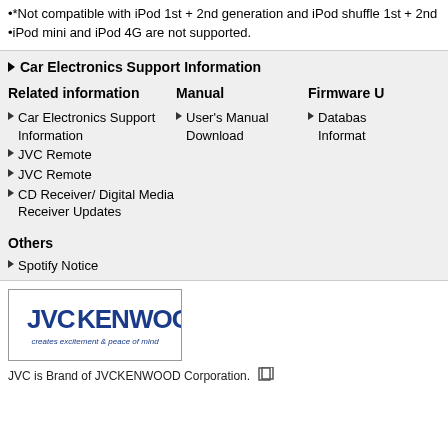•*Not compatible with iPod 1st + 2nd generation and iPod shuffle 1st + 2nd
•iPod mini and iPod 4G are not supported.
Car Electronics Support Information
Related information
Car Electronics Support Information
JVC Remote
JVC Remote
CD Receiver/ Digital Media Receiver Updates
Manual
User's Manual Download
Firmware U
Database Informat
Others
Spotify Notice
[Figure (logo): JVCKENWOOD logo with tagline 'creates excitement & peace of mind']
JVC is Brand of JVCKENWOOD Corporation.